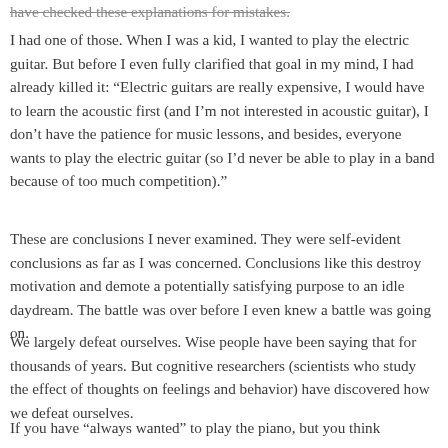have checked these explanations for mistakes.
I had one of those. When I was a kid, I wanted to play the electric guitar. But before I even fully clarified that goal in my mind, I had already killed it: “Electric guitars are really expensive, I would have to learn the acoustic first (and I’m not interested in acoustic guitar), I don’t have the patience for music lessons, and besides, everyone wants to play the electric guitar (so I’d never be able to play in a band because of too much competition).”
These are conclusions I never examined. They were self-evident conclusions as far as I was concerned. Conclusions like this destroy motivation and demote a potentially satisfying purpose to an idle daydream. The battle was over before I even knew a battle was going on.
We largely defeat ourselves. Wise people have been saying that for thousands of years. But cognitive researchers (scientists who study the effect of thoughts on feelings and behavior) have discovered how we defeat ourselves.
If you have “always wanted” to play the piano, but you think